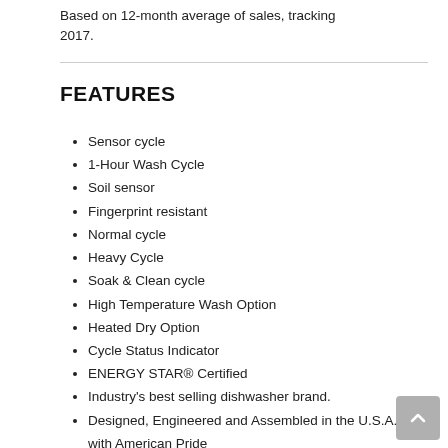Based on 12-month average of sales, tracking 2017.
FEATURES
Sensor cycle
1-Hour Wash Cycle
Soil sensor
Fingerprint resistant
Normal cycle
Heavy Cycle
Soak & Clean cycle
High Temperature Wash Option
Heated Dry Option
Cycle Status Indicator
ENERGY STAR® Certified
Industry's best selling dishwasher brand.
Designed, Engineered and Assembled in the U.S.A. with American Pride